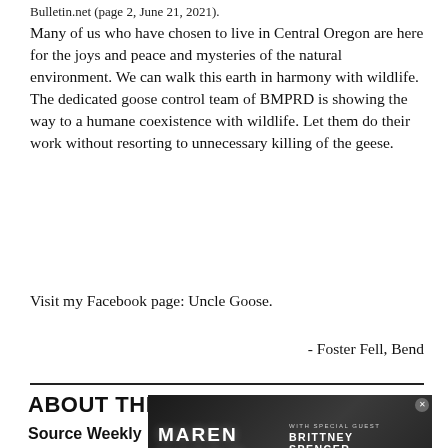Bulletin.net (page 2, June 21, 2021).
Many of us who have chosen to live in Central Oregon are here for the joys and peace and mysteries of the natural environment. We can walk this earth in harmony with wildlife. The dedicated goose control team of BMPRD is showing the way to a humane coexistence with wildlife. Let them do their work without resorting to unnecessary killing of the geese.
Visit my Facebook page: Uncle Goose.
- Foster Fell, Bend
ABOUT THE AUTHOR
Source Weekly
[Figure (photo): Advertisement for Maren Morris Humble Quest Tour with special guest Brittney Spencer, Friday Aug 26, Hayden Homes Amphitheater]